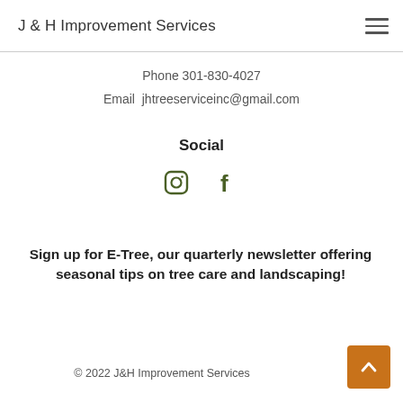J & H Improvement Services
Phone 301-830-4027
Email  jhtreeserviceinc@gmail.com
Social
[Figure (illustration): Instagram and Facebook social media icons in dark olive/green color]
Sign up for E-Tree, our quarterly newsletter offering seasonal tips on tree care and landscaping!
© 2022 J&H Improvement Services